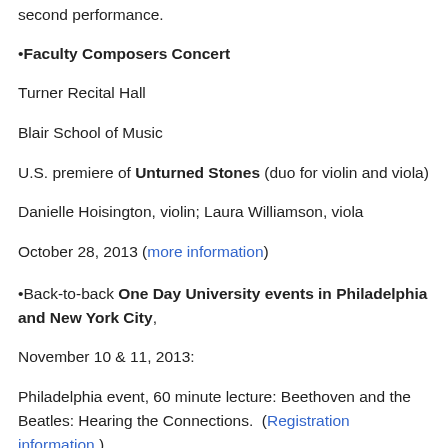second performance.
•Faculty Composers Concert
Turner Recital Hall
Blair School of Music
U.S. premiere of Unturned Stones (duo for violin and viola)
Danielle Hoisington, violin; Laura Williamson, viola
October 28, 2013 (more information)
•Back-to-back One Day University events in Philadelphia and New York City, November 10 & 11, 2013:
Philadelphia event, 60 minute lecture: Beethoven and the Beatles: Hearing the Connections. (Registration information.)
New York event, 2 hour lecture: Beethoven, Shakespeare...